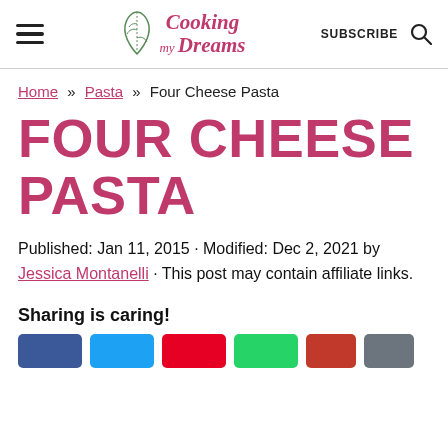Cooking my Dreams — SUBSCRIBE (search icon)
Home » Pasta » Four Cheese Pasta
FOUR CHEESE PASTA
Published: Jan 11, 2015 · Modified: Dec 2, 2021 by Jessica Montanelli · This post may contain affiliate links.
Sharing is caring!